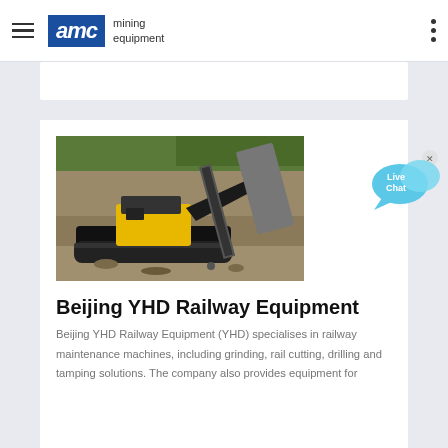AMC mining equipment
[Figure (photo): Yellow and black mining/railway maintenance machine (crawler-mounted) operating in a rocky excavation site with a conveyor belt attachment]
Beijing YHD Railway Equipment
Beijing YHD Railway Equipment (YHD) specialises in railway maintenance machines, including grinding, rail cutting, drilling and tamping solutions. The company also provides equipment for
[Figure (illustration): Live Chat speech bubble widget in light blue]